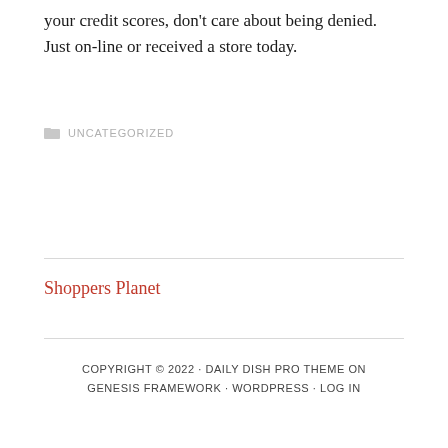your credit scores, don't care about being denied. Just on-line or received a store today.
UNCATEGORIZED
Shoppers Planet
COPYRIGHT © 2022 · DAILY DISH PRO THEME ON GENESIS FRAMEWORK · WORDPRESS · LOG IN